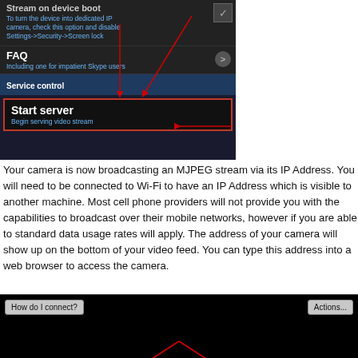[Figure (screenshot): Android app screenshot showing 'Stream on device boot' option with checkbox, FAQ menu item, Service control bar, and Start server button highlighted with a red rectangle. Red arrows point to Service control and Start server elements.]
Your camera is now broadcasting an MJPEG stream via its IP Address. You will need to be connected to Wi-Fi to have an IP Address which is visible to another machine. Most cell phone providers will not provide you with the capabilities to broadcast over their mobile networks, however if you are able to standard data usage rates will apply. The address of your camera will show up on the bottom of your video feed. You can type this address into a web browser to access the camera.
[Figure (screenshot): Video feed screenshot showing a dark/black camera view with 'How do I connect?' button on the left and 'Actions...' button on the right, and red lines/arrows visible at the bottom center of the black screen.]